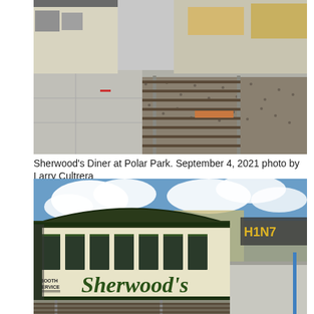[Figure (photo): Aerial/close-up view of Sherwood's Diner being installed at Polar Park, showing railroad tracks, concrete, and construction materials around the diner structure.]
Sherwood's Diner at Polar Park. September 4, 2021 photo by Larry Cultrera
[Figure (photo): Ground-level view of Sherwood's Diner at Polar Park showing the cream and dark green exterior with 'Sherwood's' in large green lettering and 'BOOTH SERVICE' painted on the side. Two men stand in front posing for the photo. Railroad tracks visible in foreground, construction in background.]